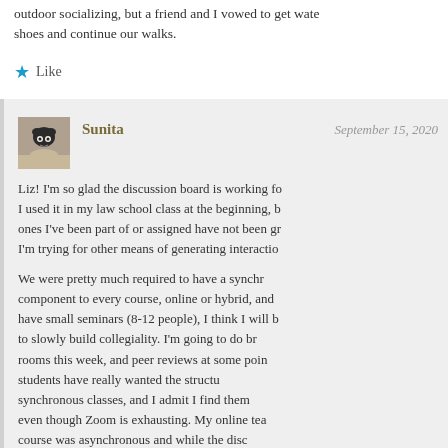outdoor socializing, but a friend and I vowed to get waterproof shoes and continue our walks.
Like
Sunita
September 15, 2020
Liz! I'm so glad the discussion board is working for you! I used it in my law school class at the beginning, but the ones I've been part of or assigned have not been great. I'm trying for other means of generating interaction.
We were pretty much required to have a synchronous component to every course, online or hybrid, and since I have small seminars (8-12 people), I think I will be able to slowly build collegiality. I'm going to do breakout rooms this week, and peer reviews at some point. My students have really wanted the structure of synchronous classes, and I admit I find them valuable even though Zoom is exhausting. My online teaching course was asynchronous and while the discussion